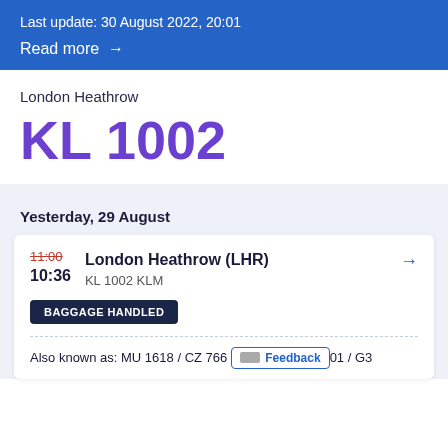Last update: 30 August 2022, 20:01
Read more →
London Heathrow
KL 1002
Yesterday, 29 August
11:00 (strikethrough) 10:36  London Heathrow (LHR) →  KL 1002 KLM  BAGGAGE HANDLED
Also known as: MU 1618 / CZ 766…01 / G3